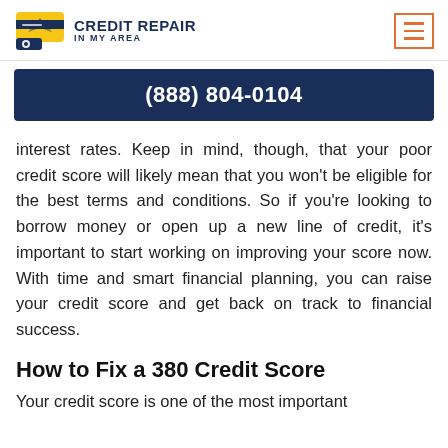CREDIT REPAIR IN MY AREA
(888) 804-0104
interest rates. Keep in mind, though, that your poor credit score will likely mean that you won't be eligible for the best terms and conditions. So if you're looking to borrow money or open up a new line of credit, it's important to start working on improving your score now. With time and smart financial planning, you can raise your credit score and get back on track to financial success.
How to Fix a 380 Credit Score
Your credit score is one of the most important